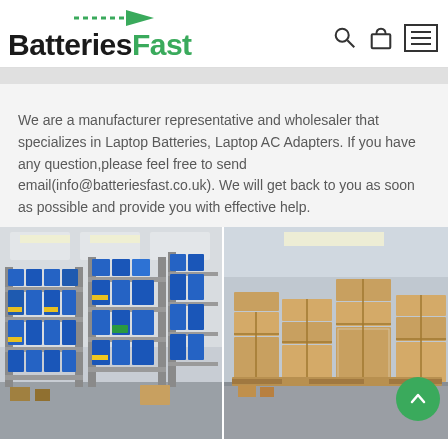BatteriesFast
We are a manufacturer representative and wholesaler that specializes in Laptop Batteries, Laptop AC Adapters. If you have any question,please feel free to send email(info@batteriesfast.co.uk). We will get back to you as soon as possible and provide you with effective help.
[Figure (photo): Two warehouse photos side by side: left shows shelves filled with blue storage bins/trays; right shows stacked cardboard boxes on the warehouse floor.]